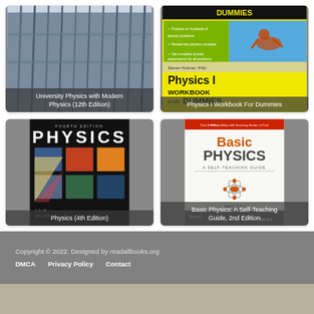[Figure (illustration): Book cover: University Physics with Modern Physics (12th Edition) - architectural columns building image]
[Figure (illustration): Book cover: Physics I Workbook For Dummies - yellow cover with motorcyclist jumping]
[Figure (illustration): Book cover: Physics (4th Edition) - dark cover with physics imagery grid]
[Figure (illustration): Book cover: Basic Physics: A Self-Teaching Guide, 2nd Edition - white cover with atom diagram, Wiley publication]
Copyright © 2022. Designed by readallbooks.org
DMCA   Privacy Policy   Contact